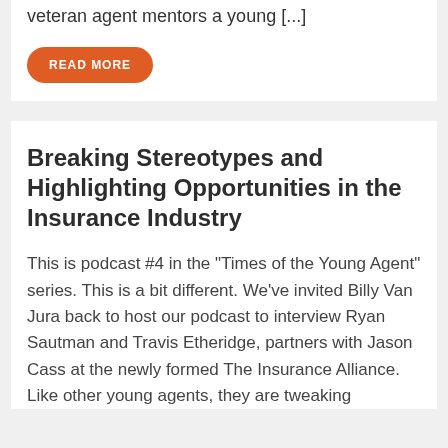veteran agent mentors a young [...]
READ MORE
Breaking Stereotypes and Highlighting Opportunities in the Insurance Industry
This is podcast #4 in the "Times of the Young Agent" series. This is a bit different. We've invited Billy Van Jura back to host our podcast to interview Ryan Sautman and Travis Etheridge, partners with Jason Cass at the newly formed The Insurance Alliance. Like other young agents, they are tweaking